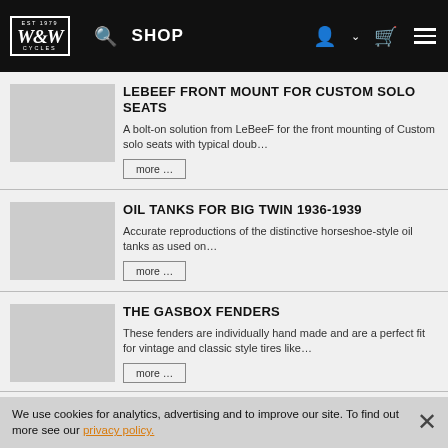W&W Cycles navigation bar with logo, search, SHOP, account, cart, menu
LEBEEF FRONT MOUNT FOR CUSTOM SOLO SEATS
A bolt-on solution from LeBeeF for the front mounting of Custom solo seats with typical doub…
more …
OIL TANKS FOR BIG TWIN 1936-1939
Accurate reproductions of the distinctive horseshoe-style oil tanks as used on…
more …
THE GASBOX FENDERS
These fenders are individually hand made and are a perfect fit for vintage and classic style tires like…
more …
We use cookies for analytics, advertising and to improve our site. To find out more see our privacy policy.